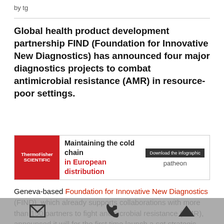by tg
Global health product development partnership FIND (Foundation for Innovative New Diagnostics) has announced four major diagnostics projects to combat antimicrobial resistance (AMR) in resource-poor settings.
[Figure (other): Advertisement banner for ThermoFisher Scientific / Patheon: 'Maintaining the cold chain in European distribution' with a Download the infographic button.]
Geneva-based Foundation for Innovative New Diagnostics (FIND), which already supports collaborations with more than 150 partners to fight antimicrobial resistance (AMR), announced it will for the first time launch a set strategic alliances that will tackle the main barriers in implementation of diagnostic solutions for AMR. According to estimates, currently 700,000 people die annually